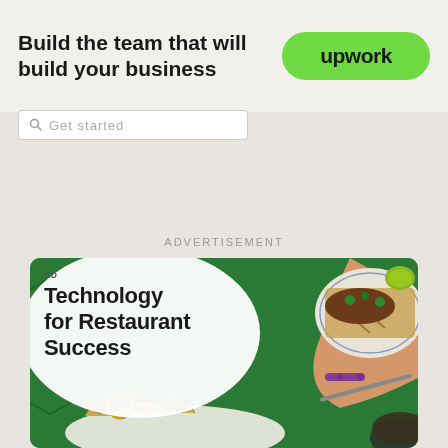[Figure (screenshot): Upwork banner advertisement: 'Build the team that will build your business' with green Upwork logo button on right]
[Figure (screenshot): Search bar UI element partially visible]
ADVERTISEMENT
[Figure (photo): Advertisement card for 'Technology for Restaurant Success' showing food photo with tacos on green hexagonal tile background, person's hand with bracelet reaching toward food plate]